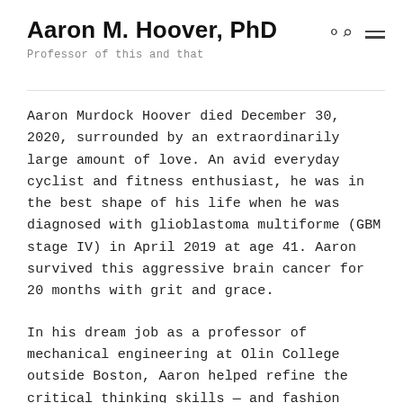Aaron M. Hoover, PhD
Professor of this and that
Aaron Murdock Hoover died December 30, 2020, surrounded by an extraordinarily large amount of love. An avid everyday cyclist and fitness enthusiast, he was in the best shape of his life when he was diagnosed with glioblastoma multiforme (GBM stage IV) in April 2019 at age 41. Aaron survived this aggressive brain cancer for 20 months with grit and grace.
In his dream job as a professor of mechanical engineering at Olin College outside Boston, Aaron helped refine the critical thinking skills — and fashion senses — of a generation of young engineers. He loved his work, finding deep satisfaction in the process of education as much as